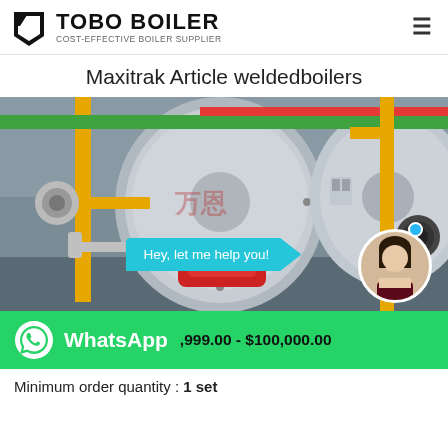TOBO BOILER — COST-EFFECTIVE BOILER SUPPLIER
Maxitrak Article weldedboilers
[Figure (photo): Industrial boiler room showing large cylindrical boilers with yellow and red pipes, burner assembly, and a chat bubble overlay saying 'Hey, let me help you!' with a female customer service avatar in a circular frame.]
,999.00 - $100,000.00
Minimum order quantity : 1 set